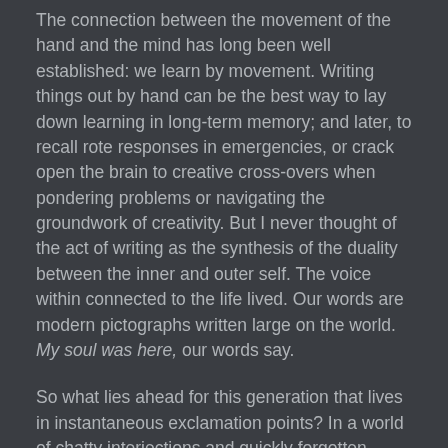The connection between the movement of the hand and the mind has long been well established: we learn by movement. Writing things out by hand can be the best way to lay down learning in long-term memory; and later, to recall rote responses in emergencies, or crack open the brain to creative cross-overs when pondering problems or navigating the groundwork of creativity. But I never thought of the act of writing as the synthesis of the duality between the inner and outer self. The voice within connected to the life lived. Our words are modern pictographs written large on the world. My soul was here, our words say.
So what lies ahead for this generation that lives in instantaneous exclamation points? In a world of chatty interjections and quickly forgotten interactions? Where will reflection find its shadow